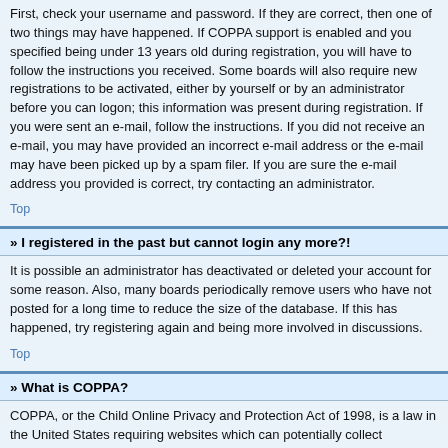First, check your username and password. If they are correct, then one of two things may have happened. If COPPA support is enabled and you specified being under 13 years old during registration, you will have to follow the instructions you received. Some boards will also require new registrations to be activated, either by yourself or by an administrator before you can logon; this information was present during registration. If you were sent an e-mail, follow the instructions. If you did not receive an e-mail, you may have provided an incorrect e-mail address or the e-mail may have been picked up by a spam filer. If you are sure the e-mail address you provided is correct, try contacting an administrator.
Top
» I registered in the past but cannot login any more?!
It is possible an administrator has deactivated or deleted your account for some reason. Also, many boards periodically remove users who have not posted for a long time to reduce the size of the database. If this has happened, try registering again and being more involved in discussions.
Top
» What is COPPA?
COPPA, or the Child Online Privacy and Protection Act of 1998, is a law in the United States requiring websites which can potentially collect information from minors under the age of 13 to have written parental consent or some other method of legal guardian acknowledgment, allowing the collection of personally identifiable information from a minor under the age of 13. If you are unsure if this applies to you as someone trying to register or to the website